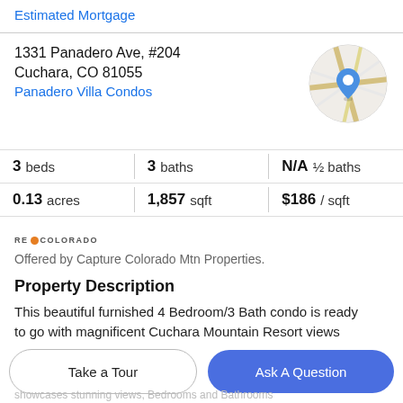Estimated Mortgage
1331 Panadero Ave, #204
Cuchara, CO 81055
Panadero Villa Condos
[Figure (map): Circular map thumbnail with a blue location pin marker showing the property location]
| 3 beds | 3 baths | N/A ½ baths |
| 0.13 acres | 1,857 sqft | $186 / sqft |
[Figure (logo): RE/Colorado logo with orange flame icon]
Offered by Capture Colorado Mtn Properties.
Property Description
This beautiful furnished 4 Bedroom/3 Bath condo is ready to go with magnificent Cuchara Mountain Resort views
Take a Tour
Ask A Question